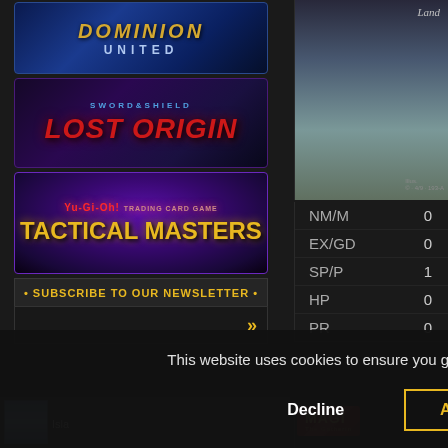[Figure (screenshot): Dominion United trading card game banner with blue/dark background]
[Figure (screenshot): Sword and Shield Lost Origin Pokemon TCG banner with dark purple background]
[Figure (screenshot): Yu-Gi-Oh Tactical Masters banner with purple glow background]
• SUBSCRIBE TO OUR NEWSLETTER •
[Figure (screenshot): Card image showing Land card type, partially visible]
| Condition | Count |
| --- | --- |
| NM/M | 0 |
| EX/GD | 0 |
| SP/P | 1 |
| HP | 0 |
| PR | 0 |
This website uses cookies to ensure you get the best experience on our website.
Decline
Allow cookies
[Figure (logo): Magic: The Gathering logo, partially visible]
[Figure (screenshot): Island card thumbnail, partially visible at bottom right]